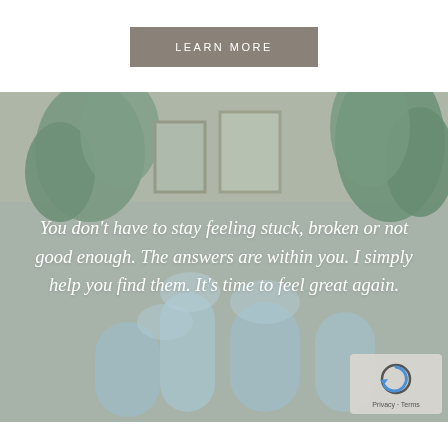LEARN MORE
[Figure (photo): Background photo of wellness/spa items including candles and plants with a teal misty overlay, containing an italic quote in white text]
You don't have to stay feeling stuck, broken or not good enough. The answers are within you. I simply help you find them. It's time to feel great again.
[Figure (logo): reCAPTCHA badge with Privacy and Terms links]